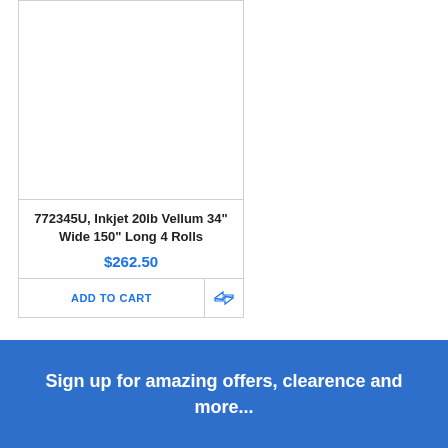[Figure (photo): Product image area (blank white) for Inkjet 20lb Vellum rolls]
772345U, Inkjet 20lb Vellum 34" Wide 150" Long 4 Rolls
$262.50
ADD TO CART
Sign up for amazing offers, clearence and more...